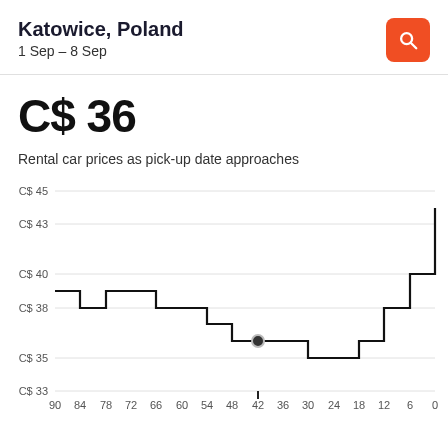Katowice, Poland
1 Sep – 8 Sep
C$ 36
Rental car prices as pick-up date approaches
[Figure (line-chart): Step line chart showing rental car prices as pick-up date approaches, from 90 days out to 0 days. Prices start around C$39, dip to C$35 around 24-30 days out, then rise sharply to ~C$44 near pick-up. A dot marks the current price at 42 days (C$36).]